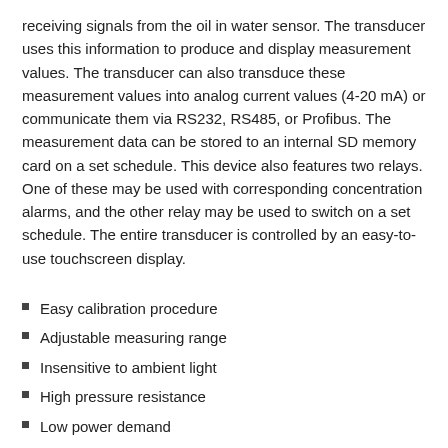receiving signals from the oil in water sensor. The transducer uses this information to produce and display measurement values. The transducer can also transduce these measurement values into analog current values (4-20 mA) or communicate them via RS232, RS485, or Profibus. The measurement data can be stored to an internal SD memory card on a set schedule. This device also features two relays. One of these may be used with corresponding concentration alarms, and the other relay may be used to switch on a set schedule. The entire transducer is controlled by an easy-to-use touchscreen display.
Easy calibration procedure
Adjustable measuring range
Insensitive to ambient light
High pressure resistance
Low power demand
Real-time online monitoring
Modbus RTU interface